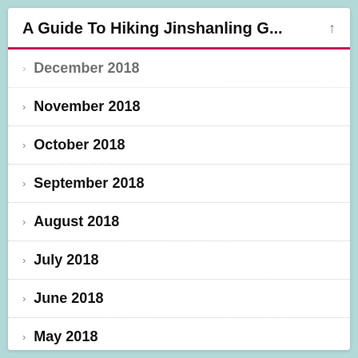A Guide To Hiking Jinshanling G...
December 2018
November 2018
October 2018
September 2018
August 2018
July 2018
June 2018
May 2018
April 2018
March 2018
February 2018